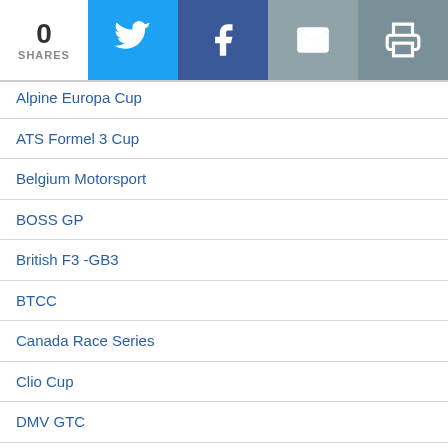0 SHARES
Alpine Europa Cup
ATS Formel 3 Cup
Belgium Motorsport
BOSS GP
British F3 -GB3
BTCC
Canada Race Series
Clio Cup
DMV GTC
Drifting-Drag
DTC ADAC Procar
DTM-Series
Electric Car Racing Series
Esports-ESL-SIM
European Le Mans Series
Formula1
FIA Formula2